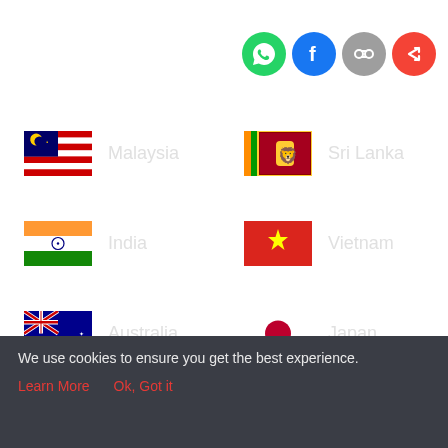[Figure (infographic): Social sharing icons: WhatsApp (green), Facebook (blue), Copy link (gray), Share (red) as circular buttons]
Malaysia
Sri Lanka
India
Vietnam
Australia
Japan
Nigeria
Kenya
Partner Brands
We use cookies to ensure you get the best experience.
Learn More    Ok, Got it